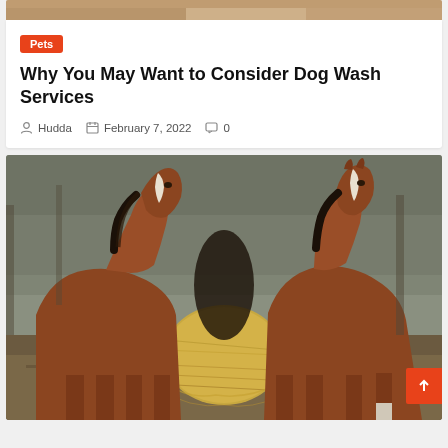[Figure (photo): Partial top strip showing a photo of horses or similar scene, cropped]
Pets
Why You May Want to Consider Dog Wash Services
Hudda   February 7, 2022   0
[Figure (photo): Two brown horses with black manes facing each other over a round hay bale in an outdoor dirt field, trees in background]